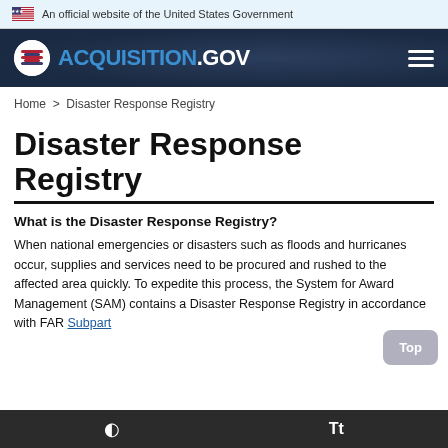An official website of the United States Government
[Figure (logo): ACQUISITION.GOV site logo and header with dark navy background]
Home > Disaster Response Registry
Disaster Response Registry
What is the Disaster Response Registry?
When national emergencies or disasters such as floods and hurricanes occur, supplies and services need to be procured and rushed to the affected area quickly. To expedite this process, the System for Award Management (SAM) contains a Disaster Response Registry in accordance with FAR Subpart